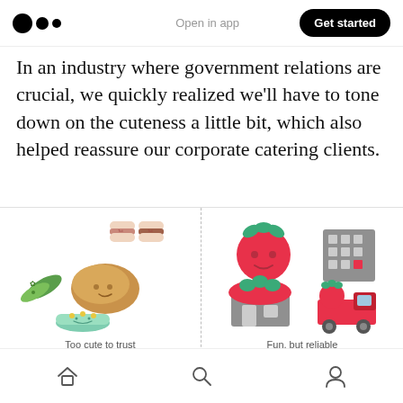Open in app | Get started
In an industry where government relations are crucial, we quickly realized we’ll have to tone down on the cuteness a little bit, which also helped reassure our corporate catering clients.
[Figure (illustration): Two-panel illustration comparing food brand styles. Left panel labeled 'Too cute to trust' shows cute kawaii food characters: little marshmallow sandwiches, a smiling green pea pod, a happy bread/croissant, and a bowl with yellow dots. Right panel labeled 'Fun, but reliable' shows simplified flat icons: a smiling red tomato, a gray building/grid icon, a tomato-topped storefront icon, and a red delivery truck with tomato on top.]
Too cute to trust
Fun, but reliable